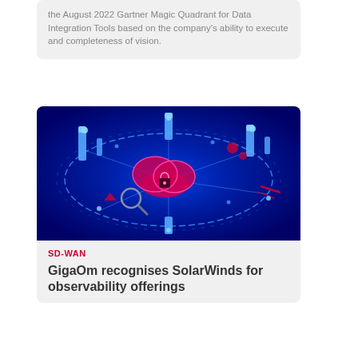the August 2022 Gartner Magic Quadrant for Data Integration Tools based on the company's ability to execute and completeness of vision.
[Figure (illustration): Futuristic blue-toned illustration showing a cloud security concept with a shield lock at center, surrounded by glowing blue digital elements, nodes, and connection points on a dark blue background.]
SD-WAN
GigaOm recognises SolarWinds for observability offerings